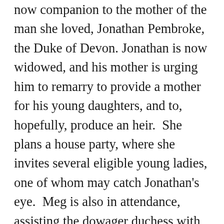now companion to the mother of the man she loved, Jonathan Pembroke, the Duke of Devon. Jonathan is now widowed, and his mother is urging him to remarry to provide a mother for his young daughters, and to, hopefully, produce an heir.  She plans a house party, where she invites several eligible young ladies, one of whom may catch Jonathan's eye.  Meg is also in attendance, assisting the dowager duchess with the party, and still feeling a pang when she sees Jonathan.  It seems that his mother has another plot in mind, one that would pair Jonathan with her beloved companion.  Jonathan is delighted to spend time with Meg, someone he's always